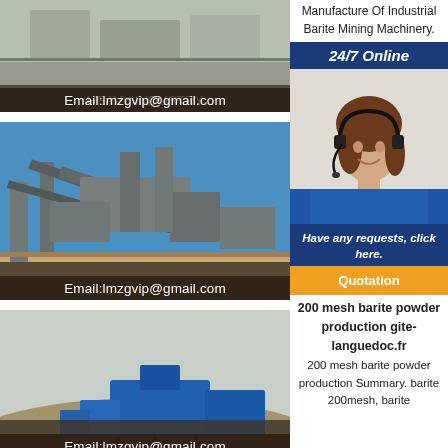[Figure (photo): Industrial mining/factory facility interior with email overlay]
[Figure (photo): Large outdoor mining conveyor belt machinery with email overlay]
[Figure (photo): Outdoor mining equipment with blue machinery and email overlay]
Manufacture Of Industrial Barite Mining Machinery.
24/7 Online
[Figure (photo): Customer service agent woman with headset smiling]
Have any requests, click here.
Quotation
200 mesh barite powder production gite-languedoc.fr
200 mesh barite powder production Summary. barite 200mesh, barite